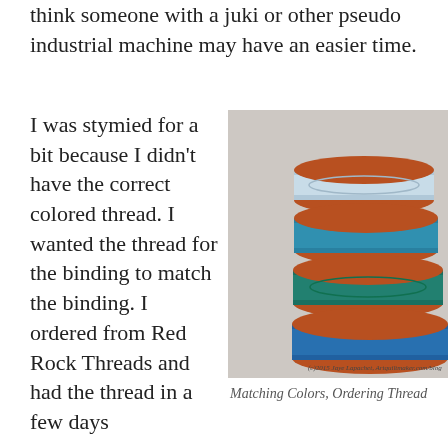think someone with a juki or other pseudo industrial machine may have an easier time.
I was stymied for a bit because I didn't have the correct colored thread. I wanted the thread for the binding to match the binding. I ordered from Red Rock Threads and had the thread in a few days
[Figure (photo): Stack of five spools of Aurifil thread in shades of light blue, teal, and aqua, with orange bases. Watermark reads: (c)2015 Jaye Lapachet, Artquiltmaker.com/blog]
Matching Colors, Ordering Thread